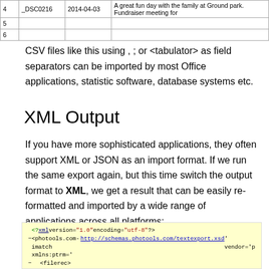| 4 | _DSC0216 | 2014-04-03 | A great fun day with the family at Ground park. Fundraiser meeting for |
| 5 |  |  |  |
| 6 |  |  |  |
CSV files like this using , ; or <tabulator> as field separators can be imported by most Office applications, statistic software, database systems etc.
XML Output
If you have more sophisticated applications, they often support XML or JSON as an import format. If we run the same export again, but this time switch the output format to XML, we get a result that can be easily re-formatted and imported by a wide range of applications across all platforms:
[Figure (screenshot): XML code block showing <?xml version='1.0' encoding='utf-8' ?> and photools.com-imatch XML export with filerec elements containing FileName, DateCreated, Description, Credit tags]